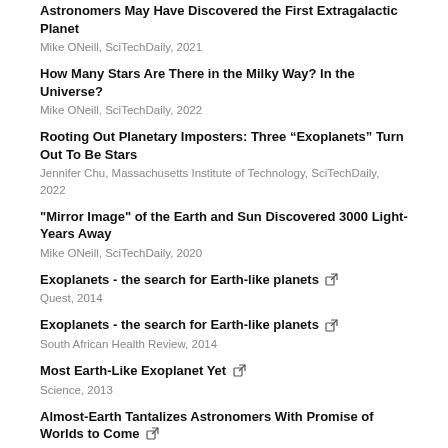Astronomers May Have Discovered the First Extragalactic Planet
Mike ONeill, SciTechDaily, 2021
How Many Stars Are There in the Milky Way? In the Universe?
Mike ONeill, SciTechDaily, 2022
Rooting Out Planetary Imposters: Three “Exoplanets” Turn Out To Be Stars
Jennifer Chu, Massachusetts Institute of Technology, SciTechDaily, 2022
"Mirror Image" of the Earth and Sun Discovered 3000 Light-Years Away
Mike ONeill, SciTechDaily, 2020
Exoplanets - the search for Earth-like planets [external link]
Quest, 2014
Exoplanets - the search for Earth-like planets [external link]
South African Health Review, 2014
Most Earth-Like Exoplanet Yet [external link]
Science, 2013
Almost-Earth Tantalizes Astronomers With Promise of Worlds to Come [external link]
Yudhijit Bhattacharjee, Science, 2014